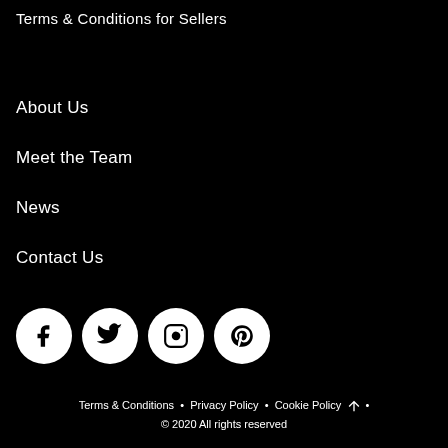Terms & Conditions for Sellers
About Us
Meet the Team
News
Contact Us
[Figure (other): Four social media icons in white circles on black background: Facebook, Twitter, Instagram, Pinterest]
Terms & Conditions • Privacy Policy • Cookie Policy • © 2020 All rights reserved